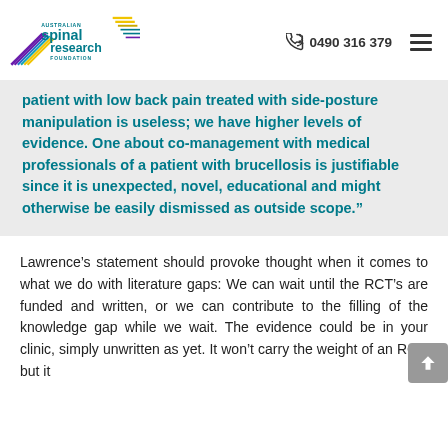Australian Spinal Research Foundation | 0490 316 379
patient with low back pain treated with side-posture manipulation is useless; we have higher levels of evidence. One about co-management with medical professionals of a patient with brucellosis is justifiable since it is unexpected, novel, educational and might otherwise be easily dismissed as outside scope.”
Lawrence’s statement should provoke thought when it comes to what we do with literature gaps: We can wait until the RCT’s are funded and written, or we can contribute to the filling of the knowledge gap while we wait. The evidence could be in your clinic, simply unwritten as yet. It won’t carry the weight of an RCT, but it